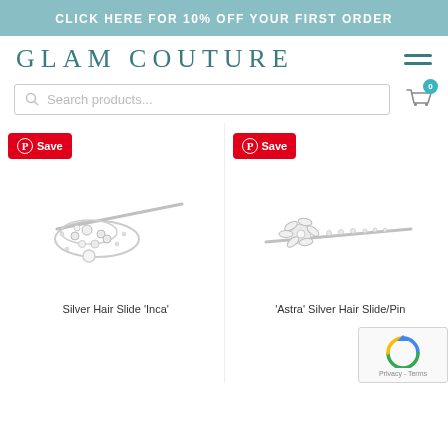CLICK HERE FOR 10% OFF YOUR FIRST ORDER
GLAM COUTURE
Search products...
[Figure (photo): Silver Hair Slide 'Inca' - silver jewelled hair clip with diamond-studded bobby pin design]
[Figure (photo): 'Astra' Silver Hair Slide/Pin - silver jewelled hair pin with floral crystal cluster]
Silver Hair Slide 'Inca'
'Astra' Silver Hair Slide/Pin